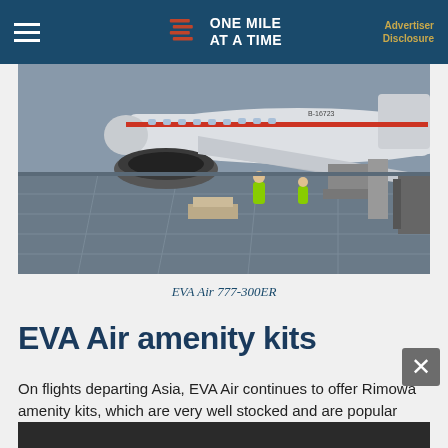ONE MILE AT A TIME | Advertiser Disclosure
[Figure (photo): EVA Air 777-300ER wide-body aircraft on tarmac being serviced by ground crew in high-visibility jackets, with cargo loaders and equipment visible alongside the plane.]
EVA Air 777-300ER
EVA Air amenity kits
On flights departing Asia, EVA Air continues to offer Rimowa amenity kits, which are very well stocked and are popular among collectors.